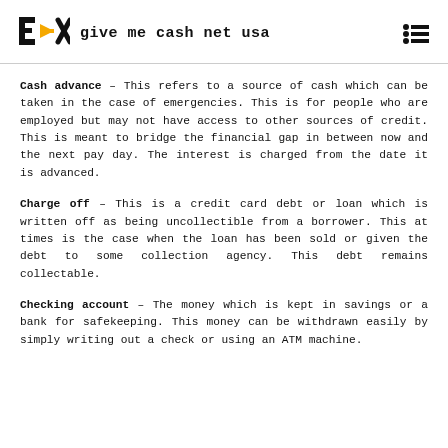give me cash net usa
Cash advance – This refers to a source of cash which can be taken in the case of emergencies. This is for people who are employed but may not have access to other sources of credit. This is meant to bridge the financial gap in between now and the next pay day. The interest is charged from the date it is advanced.
Charge off – This is a credit card debt or loan which is written off as being uncollectible from a borrower. This at times is the case when the loan has been sold or given the debt to some collection agency. This debt remains collectable.
Checking account – The money which is kept in savings or a bank for safekeeping. This money can be withdrawn easily by simply writing out a check or using an ATM machine.